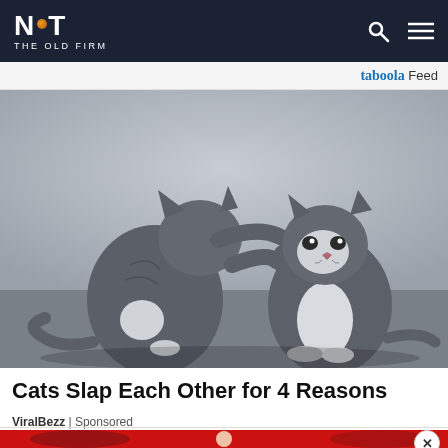NOT THE OLD FIRM
Taboola Feed
[Figure (photo): Two grey cats facing each other, one reaching out and slapping the other on the face, photographed on a grey floor surface.]
Cats Slap Each Other for 4 Reasons
ViralBezz | Sponsored
[Figure (photo): Bottom advertisement banner with red background and a white close button with X.]